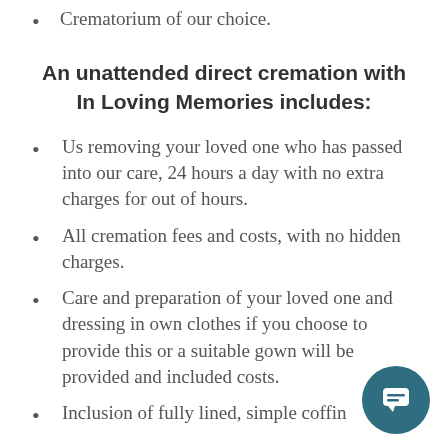Crematorium of our choice.
An unattended direct cremation with In Loving Memories includes:
Us removing your loved one who has passed into our care, 24 hours a day with no extra charges for out of hours.
All cremation fees and costs, with no hidden charges.
Care and preparation of your loved one and dressing in own clothes if you choose to provide this or a suitable gown will be provided and included costs.
Inclusion of fully lined, simple coffin